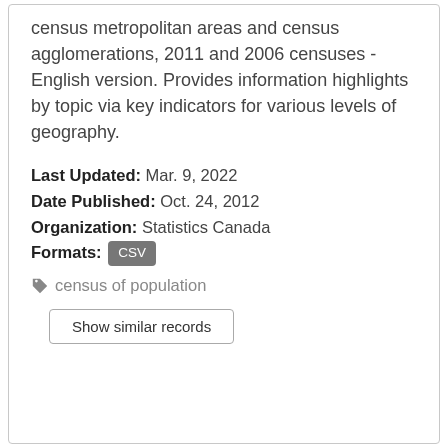census metropolitan areas and census agglomerations, 2011 and 2006 censuses - English version. Provides information highlights by topic via key indicators for various levels of geography.
Last Updated: Mar. 9, 2022
Date Published: Oct. 24, 2012
Organization: Statistics Canada
Formats: CSV
census of population
Show similar records